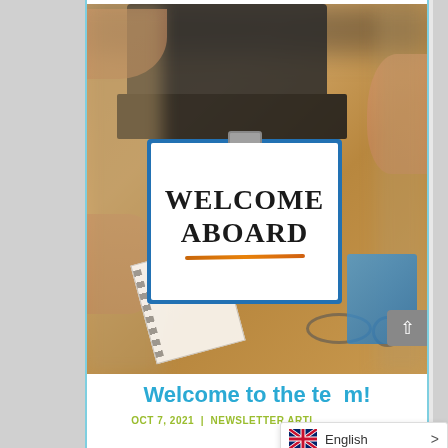[Figure (photo): Overhead view of a wooden desk with people's hands pointing at a clipboard that reads WELCOME ABOARD with an orange underline. A laptop, notebook, glasses, and documents are also visible on the desk.]
Welcome to the team!
OCT 7, 2021 | NEWSLETTER ARTI...
English